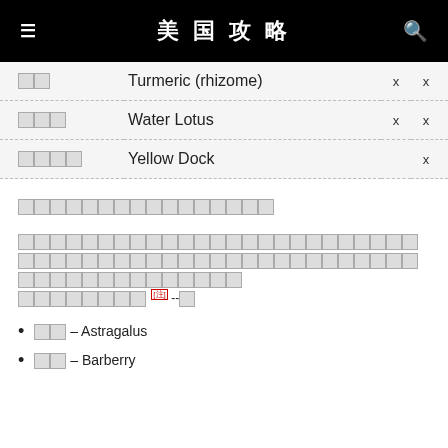≡ 美国攻略 🔍
| zh | en | x1 | x2 |
| --- | --- | --- | --- |
| □□ | Turmeric (rhizome) | x | x |
| □□□ | Water Lotus | x | x |
| □□□□ | Yellow Dock |  | x |
□□□□□□□□□□□□□□□□
□□□□□□□□□□□□□□□□□□□□□□□□□□□□□□□□□□□□□□□□□□□□□□□□□□□□□□□□□ [注] --□
□□ – Astragalus
□□ – Barberry